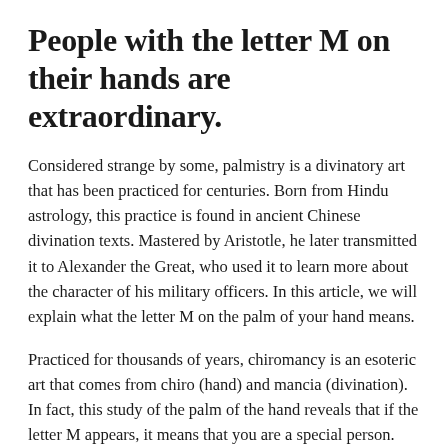People with the letter M on their hands are extraordinary.
Considered strange by some, palmistry is a divinatory art that has been practiced for centuries. Born from Hindu astrology, this practice is found in ancient Chinese divination texts. Mastered by Aristotle, he later transmitted it to Alexander the Great, who used it to learn more about the character of his military officers. In this article, we will explain what the letter M on the palm of your hand means.
Practiced for thousands of years, chiromancy is an esoteric art that comes from chiro (hand) and mancia (divination). In fact, this study of the palm of the hand reveals that if the letter M appears, it means that you are a special person. This is formed when the main lines of your palm, called the heart, head and life lines, are aligned. This marking is quite rare and